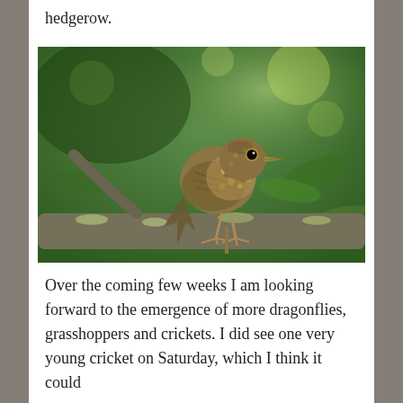hedgerow.
[Figure (photo): A young juvenile robin (small speckled brown bird) perched on a lichen-covered branch, surrounded by green foliage in the background.]
Over the coming few weeks I am looking forward to the emergence of more dragonflies, grasshoppers and crickets. I did see one very young cricket on Saturday, which I think it could